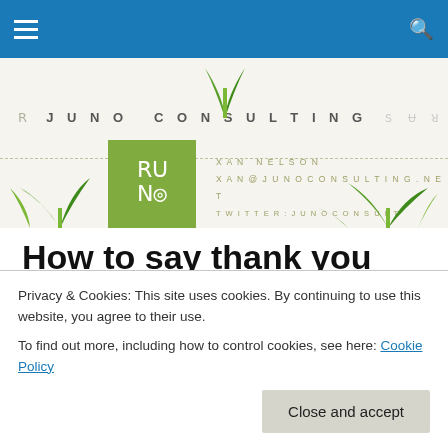Juno Consulting navigation bar
[Figure (logo): Juno Consulting website header banner with green plant imagery, green square logo icon, contact details: XAN NELSON, XAN@JUNOCONSULTING.NET, TWITTER: JUNOCONSULT, FACEBOOK: JUNO CONSULTING]
How to say thank you
Or more specifically, how NOT to say thank you. I recently came across a thank you from a board president that cost
Privacy & Cookies: This site uses cookies. By continuing to use this website, you agree to their use.
To find out more, including how to control cookies, see here: Cookie Policy
Close and accept